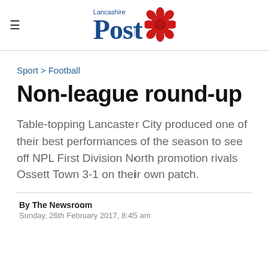Lancashire Post
Sport > Football
Non-league round-up
Table-topping Lancaster City produced one of their best performances of the season to see off NPL First Division North promotion rivals Ossett Town 3-1 on their own patch.
By The Newsroom
Sunday, 26th February 2017, 8:45 am